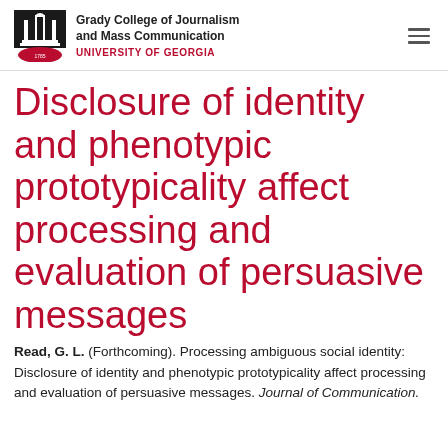Grady College of Journalism and Mass Communication UNIVERSITY OF GEORGIA
Disclosure of identity and phenotypic prototypicality affect processing and evaluation of persuasive messages
Read, G. L. (Forthcoming). Processing ambiguous social identity: Disclosure of identity and phenotypic prototypicality affect processing and evaluation of persuasive messages. Journal of Communication.